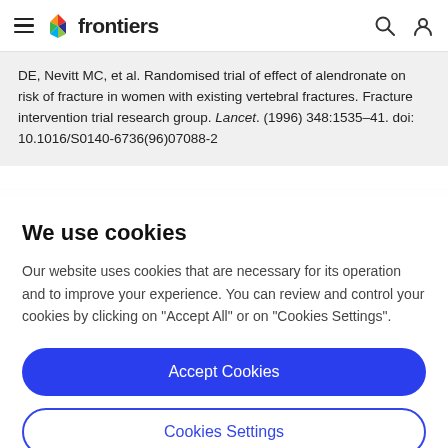frontiers
DE, Nevitt MC, et al. Randomised trial of effect of alendronate on risk of fracture in women with existing vertebral fractures. Fracture intervention trial research group. Lancet. (1996) 348:1535–41. doi: 10.1016/S0140-6736(96)07088-2
We use cookies
Our website uses cookies that are necessary for its operation and to improve your experience. You can review and control your cookies by clicking on "Accept All" or on "Cookies Settings".
Accept Cookies
Cookies Settings